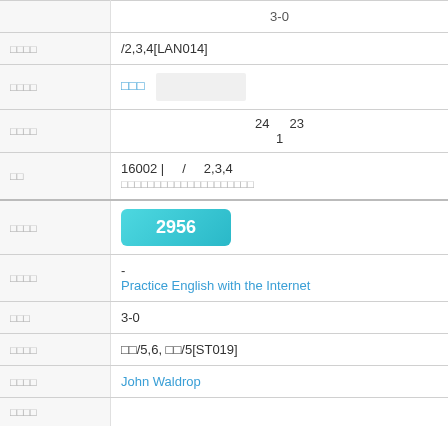| Field | Value |
| --- | --- |
| □□□□ | /2,3,4[LAN014] |
| □□□□ | □□□ |
| □□□□ | 24  23
1 |
| □□ | 16002 | □□□ / □□ 2,3,4
□□□□□□□□□□□□□□□□□□□□ |
| □□□□ | 2956 |
| □□□□ | -
Practice English with the Internet |
| □□□ | 3-0 |
| □□□□ | □□/5,6, □□/5[ST019] |
| □□□□ | John Waldrop |
| □□□□ |  |